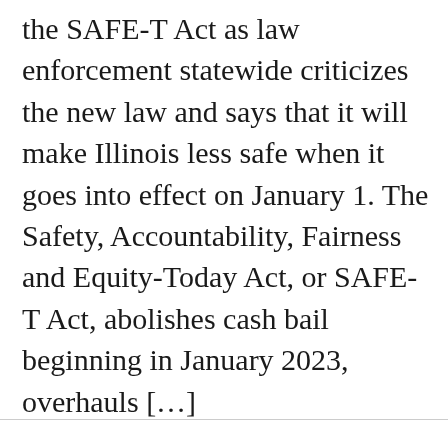(…) the SAFE-T Act as law enforcement statewide criticizes the new law and says that it will make Illinois less safe when it goes into effect on January 1. The Safety, Accountability, Fairness and Equity-Today Act, or SAFE-T Act, abolishes cash bail beginning in January 2023, overhauls […]